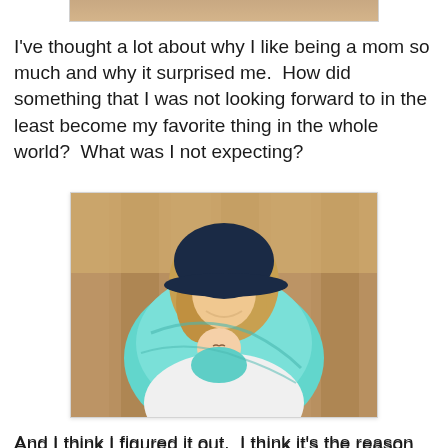[Figure (photo): Bottom edge of a photo showing a wooden surface/background, partially cropped at top of page.]
I've thought a lot about why I like being a mom so much and why it surprised me.  How did something that I was not looking forward to in the least become my favorite thing in the whole world?  What was I not expecting?
[Figure (photo): Woman wearing a dark navy baseball cap and white shirt, sitting on a wooden bench outdoors, holding a newborn baby wrapped in a teal/mint green baby wrap/sling carrier. The woman is looking down at the baby.]
And I think I figured it out.  I think it's the reason why all moms like their kids so darn much, and why being a mother is so awesome in the first place.  Simply put, I like who I am when I'm with Juno.  And I don't always like who I am.  I don't